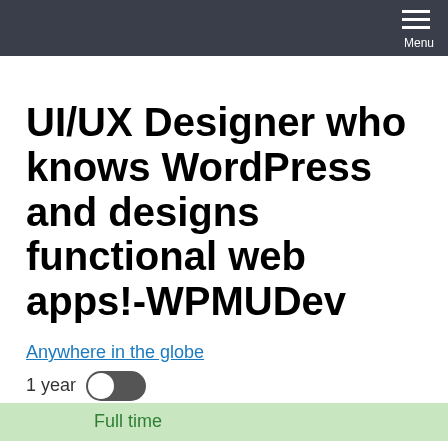Menu
UI/UX Designer who knows WordPress and designs functional web apps!-WPMUDev
Anywhere in the globe
1 year
Full time
WPMuDev (Incsub)